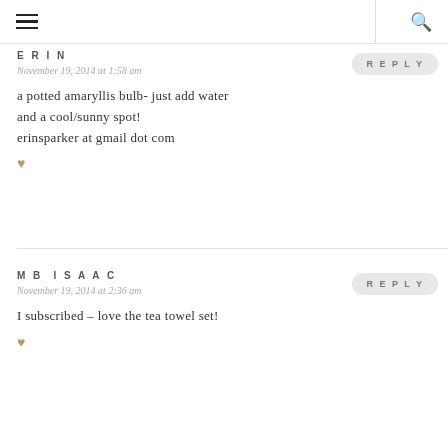≡  🔍
ERIN
November 19, 2014 at 1:58 am
a potted amaryllis bulb- just add water and a cool/sunny spot!
erinsparker at gmail dot com
MB ISAAC
November 19, 2014 at 2:36 am
I subscribed – love the tea towel set!